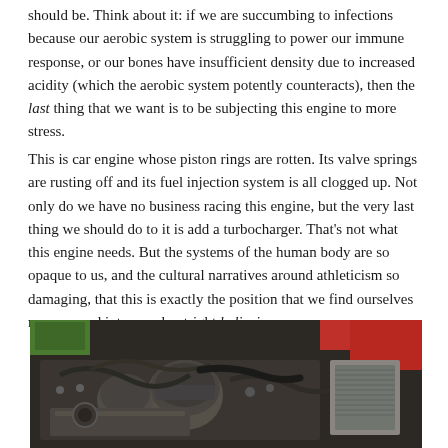should be. Think about it: if we are succumbing to infections because our aerobic system is struggling to power our immune response, or our bones have insufficient density due to increased acidity (which the aerobic system potently counteracts), then the last thing that we want is to be subjecting this engine to more stress.
This is car engine whose piston rings are rotten. Its valve springs are rusting off and its fuel injection system is all clogged up. Not only do we have no business racing this engine, but the very last thing we should do to it is add a turbocharger. That's not what this engine needs. But the systems of the human body are so opaque to us, and the cultural narratives around athleticism so damaging, that this is exactly the position that we find ourselves maneuvered into—and outright believing.
[Figure (photo): Photograph of a car engine bay showing old, rusted engine components including carburetors, hoses, and mechanical parts. The car body is red.]